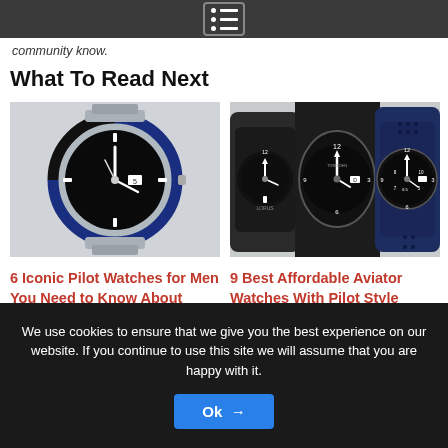[Navigation menu icon]
community know.
What To Read Next
[Figure (photo): Close-up of a Rolex GMT-Master II watch with black and blue bezel and silver bracelet]
[Figure (photo): Three aviator-style watches side by side — black fabric band, black dial with 12 at top, and navy blue perforated strap]
6 Iconic Pilot Watches for Men You Need to Know About
9 Best Affordable Aviator Watches With Pilot Style
We use cookies to ensure that we give you the best experience on our website. If you continue to use this site we will assume that you are happy with it.